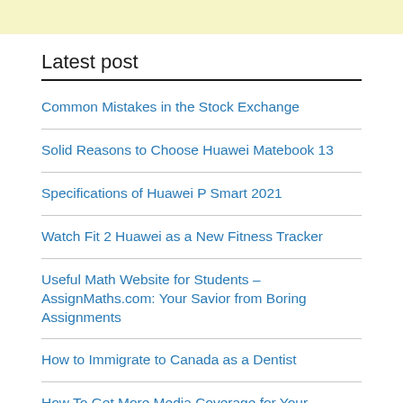Latest post
Common Mistakes in the Stock Exchange
Solid Reasons to Choose Huawei Matebook 13
Specifications of Huawei P Smart 2021
Watch Fit 2 Huawei as a New Fitness Tracker
Useful Math Website for Students – AssignMaths.com: Your Savior from Boring Assignments
How to Immigrate to Canada as a Dentist
How To Get More Media Coverage for Your Business